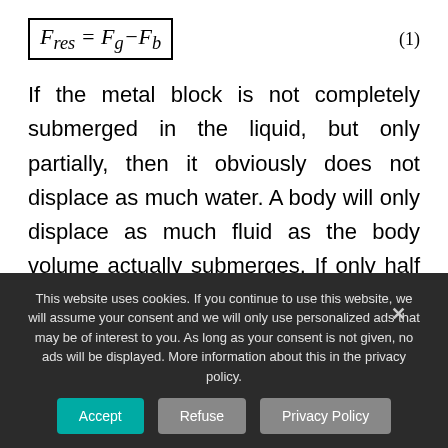If the metal block is not completely submerged in the liquid, but only partially, then it obviously does not displace as much water. A body will only displace as much fluid as the body volume actually submerges. If only half of the body volume is submerged, the body displaces only half of the water. Accordingly, the buoyancy is only half as
This website uses cookies. If you continue to use this website, we will assume your consent and we will only use personalized ads that may be of interest to you. As long as your consent is not given, no ads will be displayed. More information about this in the privacy policy.